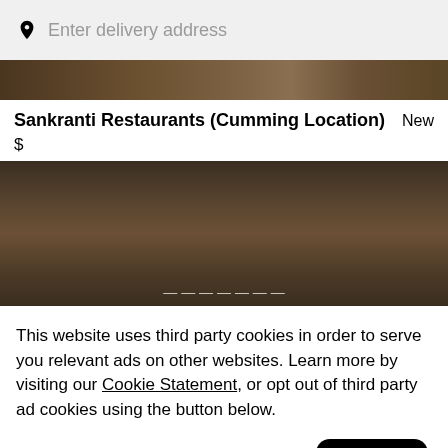[Figure (screenshot): Search bar with location pin icon and placeholder text 'Enter delivery address' on a light gray background]
[Figure (photo): Top portion of a food photo showing various Indian dishes, partially visible]
Sankranti Restaurants (Cumming Location)
New
$
[Figure (photo): Food photo showing various Indian dishes on dark background, partially visible with fading text at bottom]
This website uses third party cookies in order to serve you relevant ads on other websites. Learn more by visiting our Cookie Statement, or opt out of third party ad cookies using the button below.
Opt out
Got it